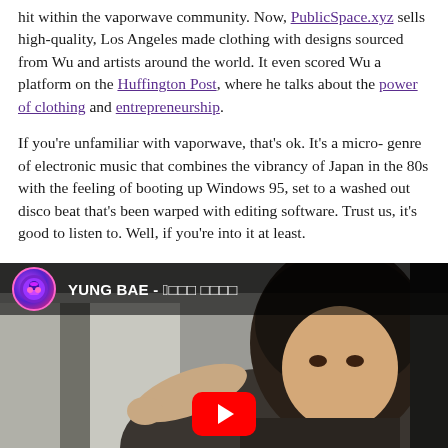hit within the vaporwave community. Now, PublicSpace.xyz sells high-quality, Los Angeles made clothing with designs sourced from Wu and artists around the world. It even scored Wu a platform on the Huffington Post, where he talks about the power of clothing and entrepreneurship.
If you're unfamiliar with vaporwave, that's ok. It's a micro-genre of electronic music that combines the vibrancy of Japan in the 80s with the feeling of booting up Windows 95, set to a washed out disco beat that's been warped with editing software. Trust us, it's good to listen to. Well, if you're into it at least.
[Figure (screenshot): YouTube video embed showing YUNG BAE music video with a woman with dark hair. The video top bar shows the channel icon (purple/pink circular logo with a stylized character) and the title 'YUNG BAE - 도쿄 ドリーム' (shown with some characters as boxes). A red YouTube play button is visible at the bottom center.]